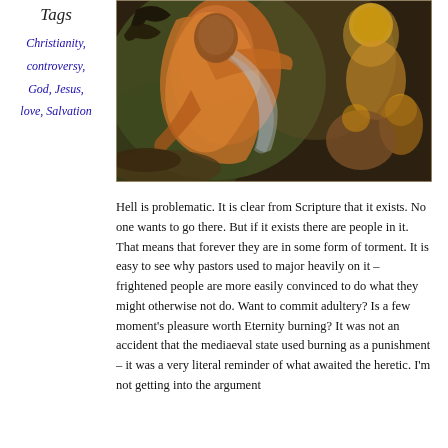Tags
Christianity,
controversy,
God, Jesus,
love, Salvation
[Figure (illustration): Medieval Byzantine-style fresco or painting depicting religious figures in dramatic poses, with orange, red, and earth-tone colors. Figures with halos are visible on the right side.]
Hell is problematic. It is clear from Scripture that it exists. No one wants to go there. But if it exists there are people in it. That means that forever they are in some form of torment. It is easy to see why pastors used to major heavily on it – frightened people are more easily convinced to do what they might otherwise not do. Want to commit adultery? Is a few moment's pleasure worth Eternity burning? It was not an accident that the mediaeval state used burning as a punishment – it was a very literal reminder of what awaited the heretic. I'm not getting into the argument